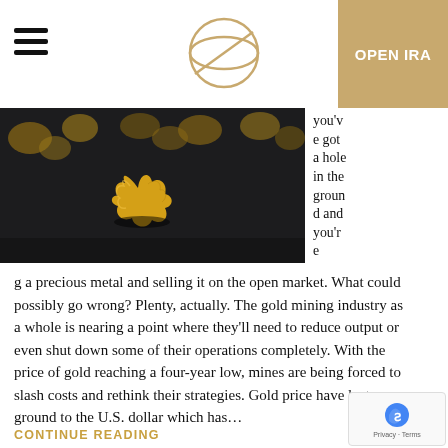OPEN IRA
[Figure (photo): Close-up photograph of a gold nugget on a dark surface with blurred gold nuggets in the background]
you've got a hole in the ground and you're mining a precious metal and selling it on the open market. What could possibly go wrong? Plenty, actually. The gold mining industry as a whole is nearing a point where they'll need to reduce output or even shut down some of their operations completely. With the price of gold reaching a four-year low, mines are being forced to slash costs and rethink their strategies. Gold prices have lost ground to the U.S. dollar which has...
CONTINUE READING